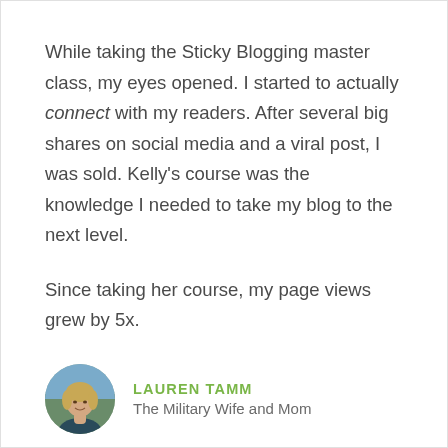While taking the Sticky Blogging master class, my eyes opened. I started to actually connect with my readers. After several big shares on social media and a viral post, I was sold. Kelly's course was the knowledge I needed to take my blog to the next level.
Since taking her course, my page views grew by 5x.
[Figure (photo): Circular avatar photo of Lauren Tamm, a woman with blonde hair]
LAUREN TAMM
The Military Wife and Mom